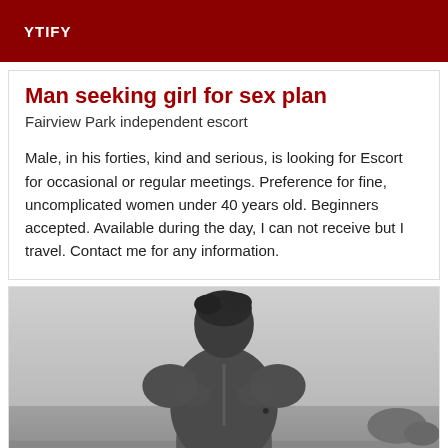YTIFY
Man seeking girl for sex plan
Fairview Park independent escort
Male, in his forties, kind and serious, is looking for Escort for occasional or regular meetings. Preference for fine, uncomplicated women under 40 years old. Beginners accepted. Available during the day, I can not receive but I travel. Contact me for any information.
[Figure (photo): Black and white photo of a man seen from behind, shirtless, with short dark hair, outdoors near water and rocks.]